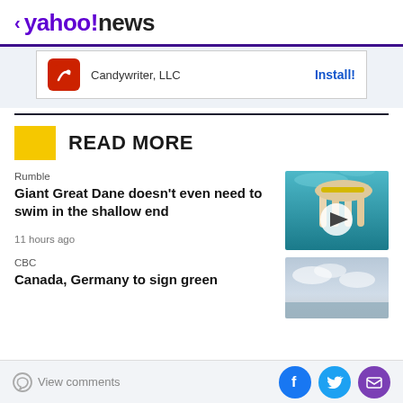< yahoo!news
[Figure (screenshot): Candywriter, LLC app install ad banner with red icon and Install! button]
READ MORE
Rumble
Giant Great Dane doesn't even need to swim in the shallow end
11 hours ago
[Figure (photo): Underwater photo of a large dog (Great Dane) walking in shallow water with play button overlay]
CBC
Canada, Germany to sign green...
[Figure (photo): Sky/ocean horizon photo thumbnail]
View comments